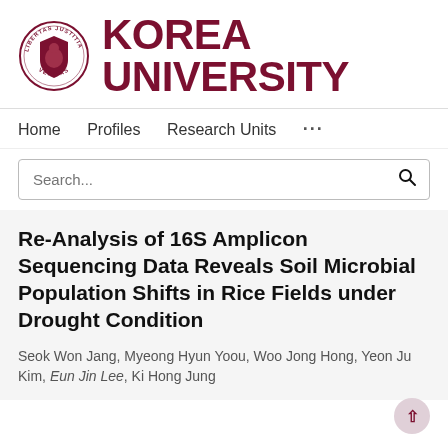[Figure (logo): Korea University circular seal logo with lion shield and Latin text LIBERTAS JUSTITIA VERITAS, alongside large bold text KOREA UNIVERSITY in dark red]
Home   Profiles   Research Units   ...
Search...
Re-Analysis of 16S Amplicon Sequencing Data Reveals Soil Microbial Population Shifts in Rice Fields under Drought Condition
Seok Won Jang, Myeong Hyun Yoou, Woo Jong Hong, Yeon Ju Kim, Eun Jin Lee, Ki Hong Jung